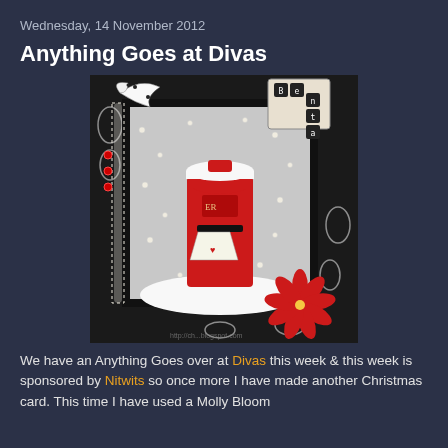Wednesday, 14 November 2012
Anything Goes at Divas
[Figure (photo): A handmade Christmas card featuring a red British pillar box (post box) with snow on top, a letter sticking out, surrounded by white pearl dots on a grey background. The card is mounted on black and white damask patterned paper with a white polka-dot ribbon bow at top left, a red poinsettia flower at bottom right, red gem embellishments on the left edge, and a white lace border. A scrabble tile tag is visible at the top right.]
We have an Anything Goes over at Divas this week & this week is sponsored by Nitwits so once more I have made another Christmas card. This time I have used a Molly Bloom